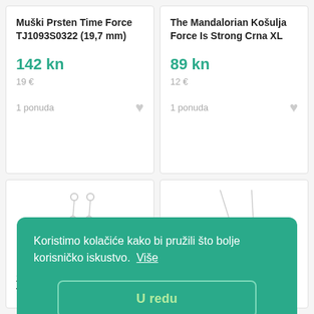Muški Prsten Time Force TJ1093S0322 (19,7 mm)
142 kn
19 €
1 ponuda
The Mandalorian Košulja Force Is Strong Crna XL
89 kn
12 €
1 ponuda
[Figure (photo): Ženske Naušnice product image showing hanging earrings]
Ženske Naušnice Time Force T3...
[Figure (photo): Crystal Vision Lancie necklace product image showing chain necklace]
Crystal Vision Lancie 'ITabit' M...
Koristimo kolačiće kako bi pružili što bolje korisničko iskustvo.  Više
U redu